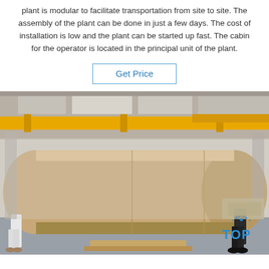plant is modular to facilitate transportation from site to site. The assembly of the plant can be done in just a few days. The cost of installation is low and the plant can be started up fast. The cabin for the operator is located in the principal unit of the plant.
[Figure (other): Get Price button — a rectangular bordered button with blue text reading 'Get Price']
[Figure (photo): Industrial factory interior photograph showing a large horizontal cylindrical metal vessel/tank lying on the floor. Two workers in work clothes stand beside it. Yellow overhead crane beams visible in background. A 'TOP' watermark logo appears in bottom-right corner.]